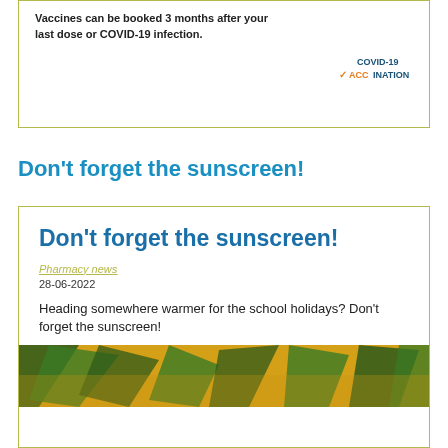Vaccines can be booked 3 months after your last dose or COVID-19 infection.
[Figure (logo): COVID-19 VACCINATION logo with orange checkmark V]
Don't forget the sunscreen!
Don't forget the sunscreen!
Pharmacy news
28-06-2022
Heading somewhere warmer for the school holidays? Don't forget the sunscreen!
[Figure (photo): Tropical leaves on a yellow background]